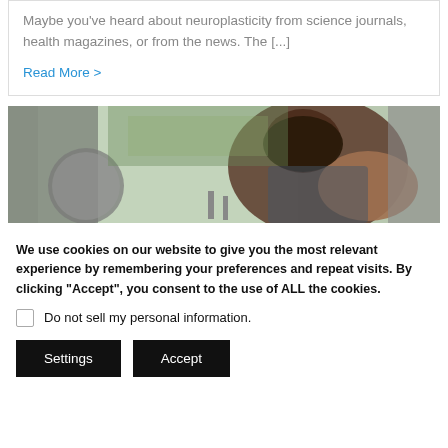Maybe you've heard about neuroplasticity from science journals, health magazines, or from the news. The [...]
Read More >
[Figure (photo): Woman with head bowed, sitting near a window with greenery visible outside]
We use cookies on our website to give you the most relevant experience by remembering your preferences and repeat visits. By clicking "Accept", you consent to the use of ALL the cookies.
Do not sell my personal information.
Settings   Accept